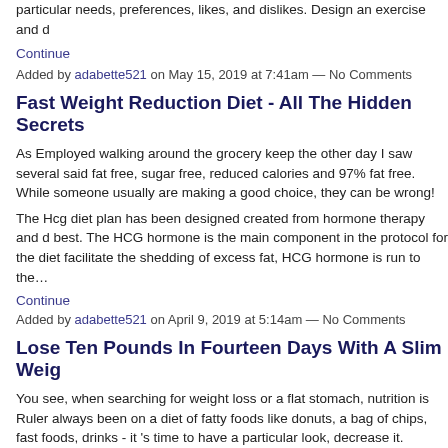particular needs, preferences, likes, and dislikes. Design an exercise and d…
Continue
Added by adabette521 on May 15, 2019 at 7:41am — No Comments
Fast Weight Reduction Diet - All The Hidden Secrets
As Employed walking around the grocery keep the other day I saw several said fat free, sugar free, reduced calories and 97% fat free. While someone usually are making a good choice, they can be wrong!
The Hcg diet plan has been designed created from hormone therapy and d best. The HCG hormone is the main component in the protocol for the diet facilitate the shedding of excess fat, HCG hormone is run to the…
Continue
Added by adabette521 on April 9, 2019 at 5:14am — No Comments
Lose Ten Pounds In Fourteen Days With A Slim Weig…
You see, when searching for weight loss or a flat stomach, nutrition is Ruler always been on a diet of fatty foods like donuts, a bag of chips, fast foods, drinks - it 's time to have a particular look, decrease it.
Many will often to experience positive health benefits when they successfull when an individual successfully loses an enormous amount of weight they an increased their our health and wellbeing….
Continue